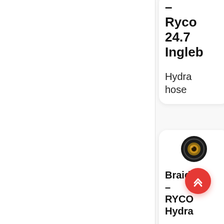– Ryco 24.7 Ingleb
Hydraulic hose
[Figure (photo): Circular hydraulic hose fitting/connector icon on dark background]
Braid – RYCO Hydra
Some leading hydra